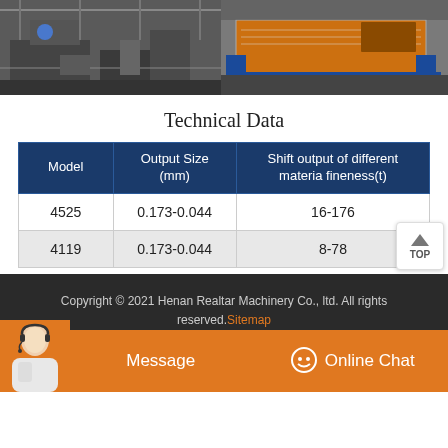[Figure (photo): Two industrial machinery photos side by side: left shows factory floor with welding/fabrication equipment, right shows a large vibrating screen machine with orange and blue components]
Technical Data
| Model | Output Size
(mm) | Shift output of different
materia fineness(t) |
| --- | --- | --- |
| 4525 | 0.173-0.044 | 16-176 |
| 4119 | 0.173-0.044 | 8-78 |
Copyright © 2021 Henan Realtar Machinery Co., ltd. All rights reserved.Sitemap